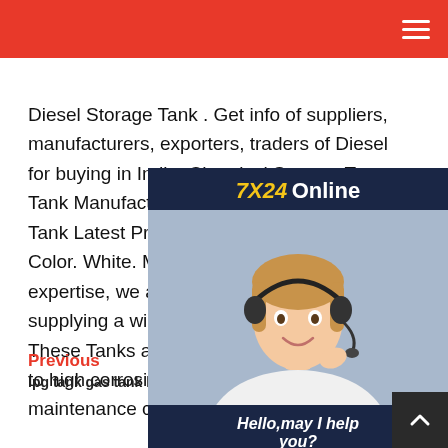Navigation bar with red background and hamburger menu
Diesel Storage Tank . Get info of suppliers, manufacturers, exporters, traders of Diesel Storage Tank for buying in India. Chemical Storage Tank, Tank Manufacturer from MS Tanks Mild Steel Tank Latest Price SS316L. Tank Orientation. Color. White. Max Pressure. 100-150 psi. With our expertise, we are engaged in manufacturing and supplying a wide range of Chemical Storage Tanks. These Tanks are highly appreciated by our clients due to high corrosion resistance, sturdy construction and low maintenance cost.
[Figure (photo): Chat widget with agent photo, 7X24 Online header, Hello may I help you? text, and Get Latest Price button]
Previous | lpg tank gas tank level indicator | cryogenic container | Next